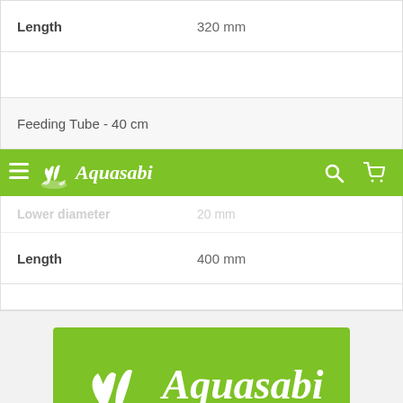| Property | Value |
| --- | --- |
| Length | 320 mm |
| Feeding Tube - 40 cm |  |
| Lower diameter | 20 mm |
| Length | 400 mm |
[Figure (logo): Aquasabi navigation bar with hamburger menu, green plant logo, 'Aquasabi' text, search icon, and cart icon on a green background]
[Figure (logo): Aquasabi logo on a green rectangular background with white plant/aquatic grass icon and italic 'Aquasabi' text]
Aquasabi is our own brand, under which we offer high-